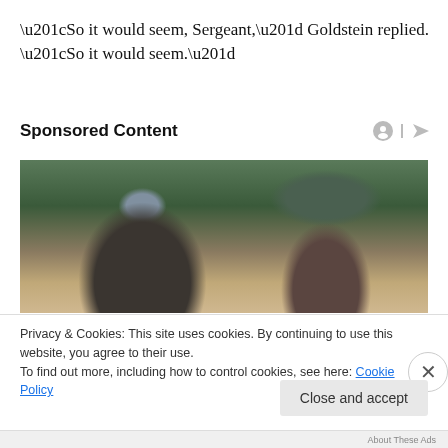“So it would seem, Sergeant,” Goldstein replied. “So it would seem.”
Sponsored Content
[Figure (photo): Two people wearing sunglasses seated in stadium-style seating, a man in a suit in profile on the left and a woman with long brown hair on the right, with green seats visible in the background.]
Privacy & Cookies: This site uses cookies. By continuing to use this website, you agree to their use.
To find out more, including how to control cookies, see here: Cookie Policy
Close and accept